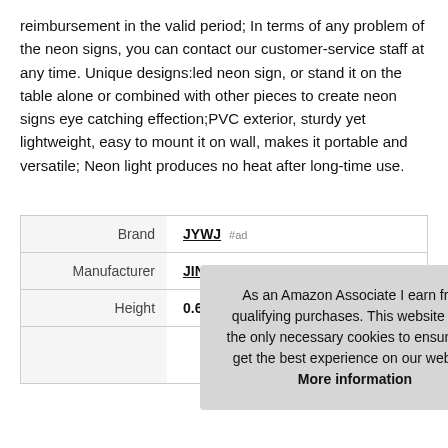reimbursement in the valid period; In terms of any problem of the neon signs, you can contact our customer-service staff at any time. Unique designs:led neon sign, or stand it on the table alone or combined with other pieces to create neon signs eye catching effection;PVC exterior, sturdy yet lightweight, easy to mount it on wall, makes it portable and versatile; Neon light produces no heat after long-time use.
|  |  |
| --- | --- |
| Brand | JYWJ #ad |
| Manufacturer | JINYI INTEL #ad |
| Height | 0.63 Inches |
As an Amazon Associate I earn from qualifying purchases. This website uses the only necessary cookies to ensure you get the best experience on our website. More information